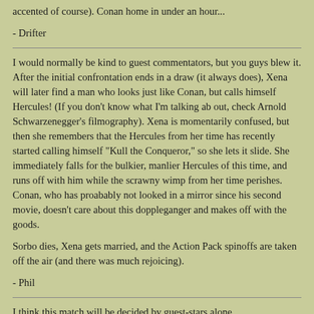accented of course). Conan home in under an hour...
- Drifter
I would normally be kind to guest commentators, but you guys blew it. After the initial confrontation ends in a draw (it always does), Xena will later find a man who looks just like Conan, but calls himself Hercules! (If you don't know what I'm talking ab out, check Arnold Schwarzenegger's filmography). Xena is momentarily confused, but then she remembers that the Hercules from her time has recently started calling himself "Kull the Conqueror," so she lets it slide. She immediately falls for the bulkier, manlier Hercules of this time, and runs off with him while the scrawny wimp from her time perishes. Conan, who has proabably not looked in a mirror since his second movie, doesn't care about this doppleganger and makes off with the goods.
Sorbo dies, Xena gets married, and the Action Pack spinoffs are taken off the air (and there was much rejoicing).
- Phil
I think this match will be decided by guest-stars alone.
It's been so long since I've seen a Conan movie. Even then it was